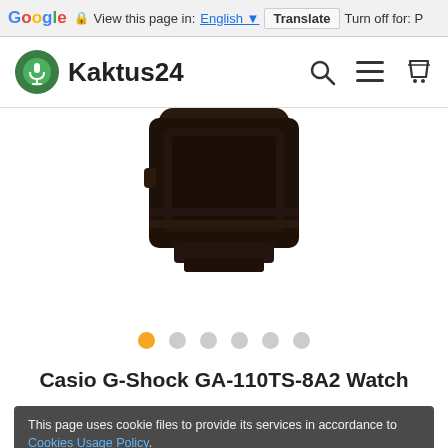Google  View this page in: English  Translate  Turn off for: P
Kaktus24
[Figure (photo): Partial view of a dark/black Casio G-Shock watch against white background]
[Figure (infographic): Image carousel dot indicators: 6 dots, first one orange (active), rest gray]
Casio G-Shock GA-110TS-8A2 Watch
This page uses cookie files to provide its services in accordance to Cookies Usage Policy.
Close